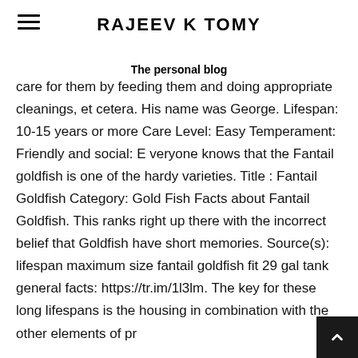RAJEEV K TOMY
The personal blog
care for them by feeding them and doing appropriate cleanings, et cetera. His name was George. Lifespan: 10-15 years or more Care Level: Easy Temperament: Friendly and social: E veryone knows that the Fantail goldfish is one of the hardy varieties. Title : Fantail Goldfish Category: Gold Fish Facts about Fantail Goldfish. This ranks right up there with the incorrect belief that Goldfish have short memories. Source(s): lifespan maximum size fantail goldfish fit 29 gal tank general facts: https://tr.im/1l3lm. The key for these long lifespans is the housing in combination with the other elements of pr…